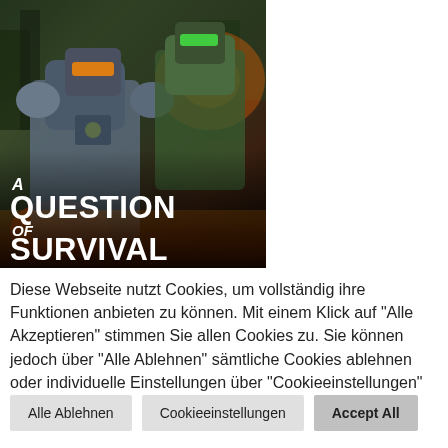[Figure (illustration): Book cover for 'A Question of Survival' by Bryan Young, showing armored sci-fi warriors/robots in a battle scene with fire and explosions. The cover has the title text 'A QUESTION OF SURVIVAL' and author name 'BRYAN YOUNG' at the bottom.]
Diese Webseite nutzt Cookies, um vollständig ihre Funktionen anbieten zu können. Mit einem Klick auf "Alle Akzeptieren" stimmen Sie allen Cookies zu. Sie können jedoch über "Alle Ablehnen" sämtliche Cookies ablehnen oder individuelle Einstellungen über "Cookieeinstellungen" vornehmen.
Alle Ablehnen   Cookieeinstellungen   Accept All